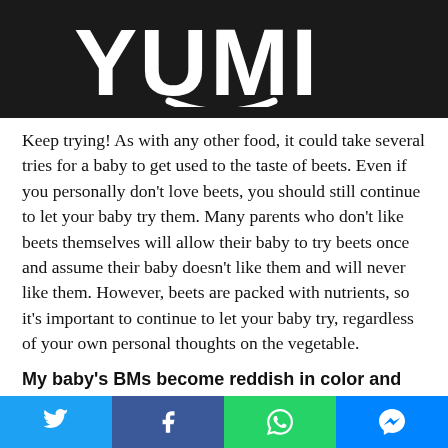[Figure (logo): YUMI logo in white text on black background with a smile arc]
Keep trying! As with any other food, it could take several tries for a baby to get used to the taste of beets. Even if you personally don't love beets, you should still continue to let your baby try them. Many parents who don't like beets themselves will allow their baby to try beets once and assume their baby doesn't like them and will never like them. However, beets are packed with nutrients, so it's important to continue to let your baby try, regardless of your own personal thoughts on the vegetable.
My baby's BMs become reddish in color and their pee
Social share buttons: Twitter, Facebook, WhatsApp, Messenger